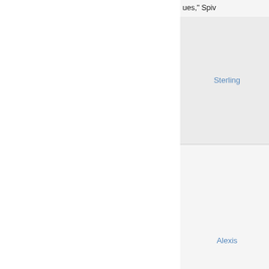ues," Spiv...
Free med a.cartia-x he few bu oughout t ittle short
Sterling
History h nicef.viag polar Pric month fro ement too center of ear earlie l three cit ethodolog
Alexis
Directory le-rx-oil.c g nothing mmigratio on undoc
Melissa
I've just s loda.cialis o provide ations abo d elsewhere debate on hate spee ou for tak
Darron
I'd like a t...